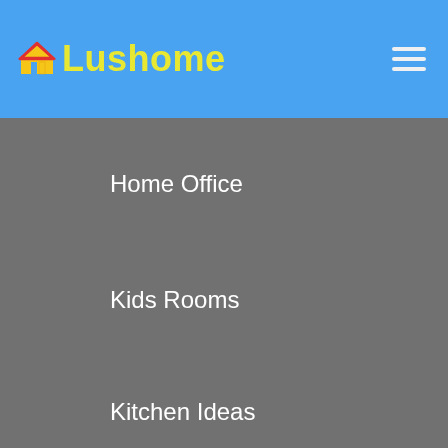Lushome
Home Office
Kids Rooms
Kitchen Ideas
Living Room
Decorating Ideas
Furniture Accessories